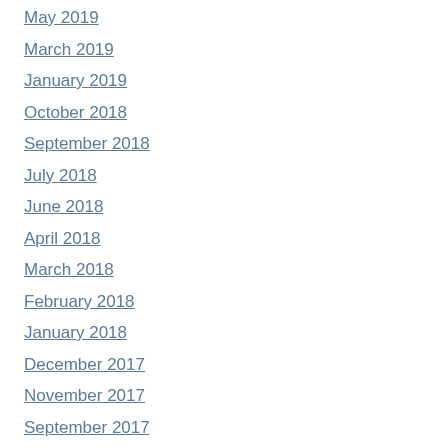May 2019
March 2019
January 2019
October 2018
September 2018
July 2018
June 2018
April 2018
March 2018
February 2018
January 2018
December 2017
November 2017
September 2017
July 2017
May 2017
March 2017
October 2016
September 2016